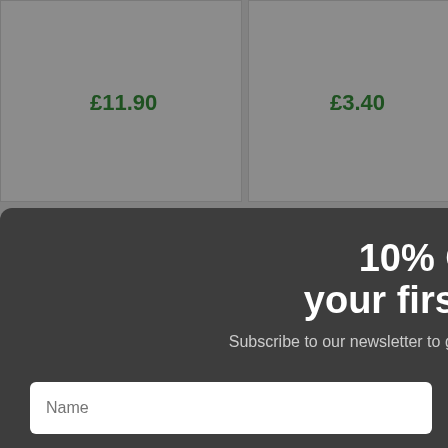£11.90
£3.40
10% OFF your first order
Subscribe to our newsletter to get 10% OFF your first order.
OK